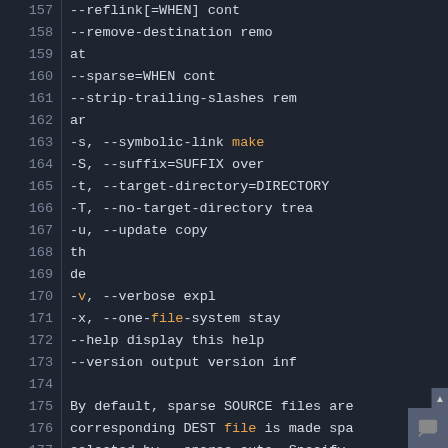[Figure (screenshot): Terminal/code editor screenshot showing man page output for cp command with line numbers 157-182, dark theme with orange highlights on certain keywords like 'make', 'file', 'v', 'x']